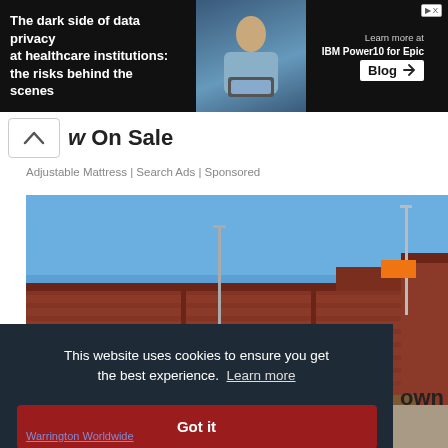[Figure (screenshot): Advertisement banner with dark background showing text about data privacy at healthcare institutions, a person with a laptop, and IBM Power10 Blog promotion]
w On Sale
Adjustable Mattress | Search Ads | Sponsored
[Figure (photo): Outdoor photo of a long red brick wall building with parking lot in foreground and blue sky above]
This website uses cookies to ensure you get the best experience. Learn more
Got it
own
Warrington Worldwide